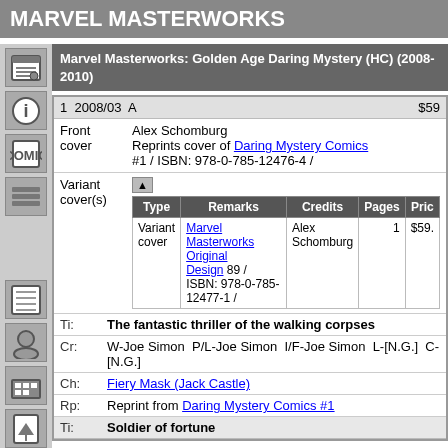MARVEL MASTERWORKS
Marvel Masterworks: Golden Age Daring Mystery (HC) (2008-2010)
|  | Date | Ed. | Price |
| --- | --- | --- | --- |
| 1 | 2008/03 | A | $59 |
| Type | Remarks | Credits | Pages | Price |
| --- | --- | --- | --- | --- |
| Variant cover | Marvel Masterworks Original Design 89 / ISBN: 978-0-785-12477-1 / | Alex Schomburg | 1 | $59. |
Front cover
Alex Schomburg
Reprints cover of Daring Mystery Comics #1 / ISBN: 978-0-785-12476-4 /
Ti: The fantastic thriller of the walking corpses
Cr: W-Joe Simon  P/L-Joe Simon  I/F-Joe Simon  L-[N.G.]  C-[N.G.]
Ch: Fiery Mask (Jack Castle)
Rp: Reprint from Daring Mystery Comics #1
Ti: Soldier of fortune